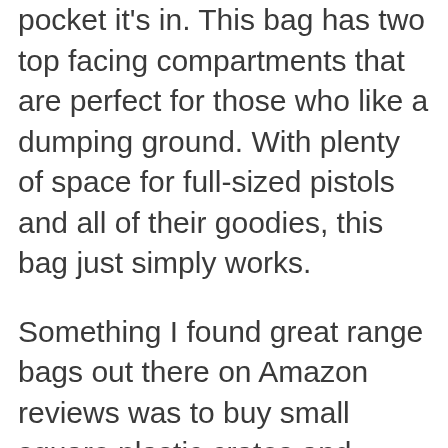pocket it's in. This bag has two top facing compartments that are perfect for those who like a dumping ground. With plenty of space for full-sized pistols and all of their goodies, this bag just simply works.
Something I found great range bags out there on Amazon reviews was to buy small square plastic crates and place them inside, giving this bag a more sturdy shape and a little more storage versatility.
The bag itself kind of lacks sturdy infrastructure so by using the money you